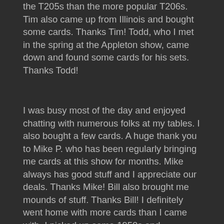the T205s than the more popular T206s. Tim also came up from Illinois and bought some cards. Thanks Tim! Todd, who I met in the spring at the Appleton show, came down and found some cards for his sets. Thanks Todd!
I was busy most of the day and enjoyed chatting with numerous folks at my tables. I also bought a few cards. A huge thank you to Mike P. who has been regularly bringing me cards at this show for months. Mike always has good stuff and I appreciate our deals. Thanks Mike! Bill also brought me mounds of stuff. Thanks Bill! I definitely went home with more cards than I came with. I picked up some 1950s and 1960s football, some early 1960s baseball, some Coke football bottle caps from the late 1960s, some old Sports Illustrateds, and some 1971 Topps coins, among assorted goodies.
My next Clarion show is set for Sunday, January 3, 2016. This will be my only Sunday show in 2016. I am hopeful that we have the exact same crowd for the January show that we had in December. A huge thank you to everyone who came out to my show on Saturday. I hope you all found some great cards (I know I did!).